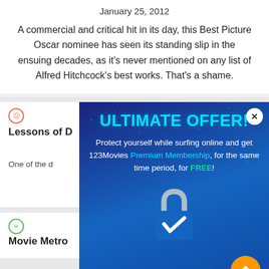January 25, 2012
A commercial and critical hit in its day, this Best Picture Oscar nominee has seen its standing slip in the ensuing decades, as it's never mentioned on any list of Alfred Hitchcock's best works. That's a shame.
Lessons of D
One of the d
Movie Metro
[Figure (screenshot): Popup advertisement with dark blue background. Title reads 'ULTIMATE OFFER!' in cyan bold text. Body text: 'Protect yourself while surfing online and get 123Movies Premium Membership, for the same time period, for FREE!' with a lock icon and an orange up-arrow button. A white X close button in the top right.]
February 18, 2012